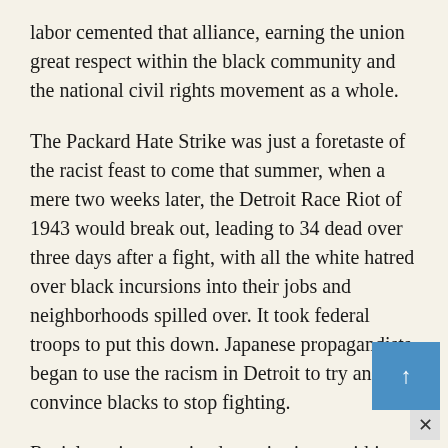labor cemented that alliance, earning the union great respect within the black community and the national civil rights movement as a whole.
The Packard Hate Strike was just a foretaste of the racist feast to come that summer, when a mere two weeks later, the Detroit Race Riot of 1943 would break out, leading to 34 dead over three days after a fight, with all the white hatred over black incursions into their jobs and neighborhoods spilled over. It took federal troops to put this down. Japanese propagandists began to use the racism in Detroit to try and convince blacks to stop fighting.
Racial tension remained a major issue within the UAW for several decades after the war, something the union constantly tried to educate their workers on while not giving an inch on its overall program of graduated civil rights. The UAW would be the greatest union ally to Martin Luther King.
Much of the information about this strike came from August